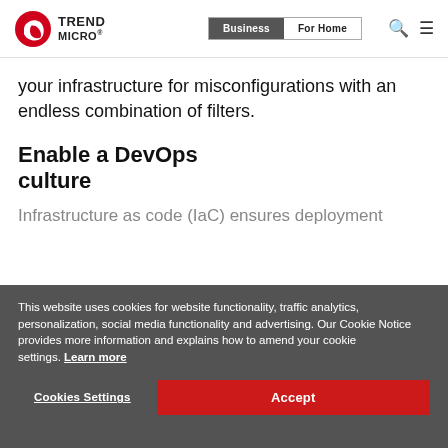Trend Micro | Business | For Home
your infrastructure for misconfigurations with an endless combination of filters.
Enable a DevOps culture
Infrastructure as code (IaC) ensures deployment of...
This website uses cookies for website functionality, traffic analytics, personalization, social media functionality and advertising. Our Cookie Notice provides more information and explains how to amend your cookie settings. Learn more
Cookies Settings | Accept